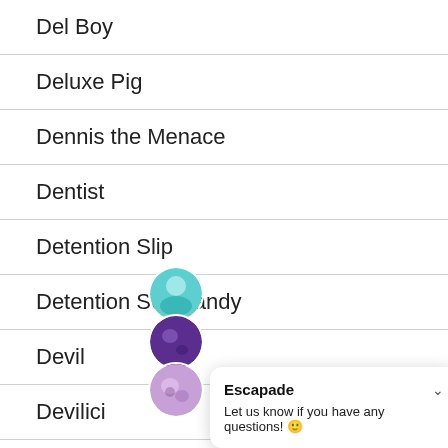Del Boy
Deluxe Pig
Dennis the Menace
Dentist
Detention Slip
Detention Slip Sandy
Devil
Devilici
Dipsy
Escapade
Let us know if you have any questions! 😊